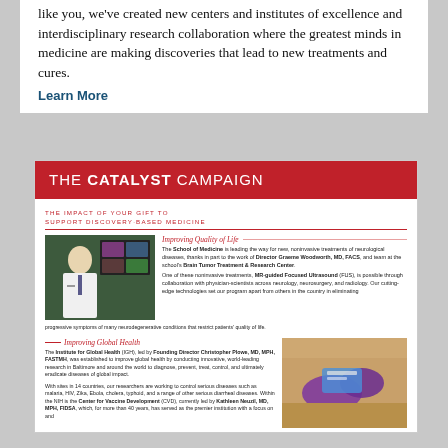like you, we've created new centers and institutes of excellence and interdisciplinary research collaboration where the greatest minds in medicine are making discoveries that lead to new treatments and cures.
Learn More
[Figure (infographic): The Catalyst Campaign brochure showing two sections: Improving Quality of Life (with a doctor in front of brain scan imagery) and Improving Global Health (with gloved hands working on a medical device), plus text about the School of Medicine's research initiatives.]